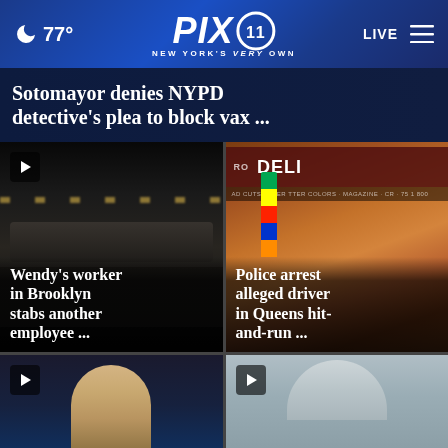🌙 77° | PIX11 NEW YORK'S VERY OWN | LIVE
Sotomayor denies NYPD detective's plea to block vax ...
[Figure (screenshot): Video thumbnail of Wendy's restaurant exterior at night with play button overlay]
Wendy's worker in Brooklyn stabs another employee ...
[Figure (screenshot): Photo of a deli storefront with a colorful flag banner outside]
Police arrest alleged driver in Queens hit-and-run ...
[Figure (screenshot): Video thumbnail showing a person with play button overlay]
[Figure (screenshot): Video thumbnail showing a person in light blue with play button overlay]